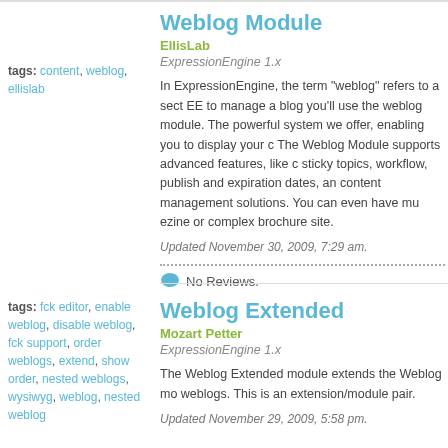tags: content, weblog, ellislab
Weblog Module
EllisLab
ExpressionEngine 1.x
In ExpressionEngine, the term "weblog" refers to a sect... EE to manage a blog you'll use the weblog module. The powerful system we offer, enabling you to display your c... The Weblog Module supports advanced features, like c... sticky topics, workflow, publish and expiration dates, an... content management solutions. You can even have mu... ezine or complex brochure site.
Updated November 30, 2009, 7:29 am.
No Reviews.
tags: fck editor, enable weblog, disable weblog, fck support, order weblogs, extend, show order, nested weblogs, wysiwyg, weblog, nested weblog
Weblog Extended
Mozart Petter
ExpressionEngine 1.x
The Weblog Extended module extends the Weblog mo... weblogs. This is an extension/module pair.
Updated November 29, 2009, 5:58 pm.